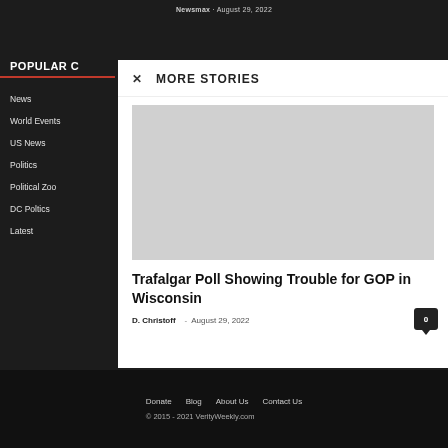Newsmax · August 29, 2022
POPULAR C…
News
World Events
US News
Politics
Political Zoo
DC Poltics
Latest
MORE STORIES
Trafalgar Poll Showing Trouble for GOP in Wisconsin
D. Christoff  -  August 29, 2022
Donate   Blog   About Us   Contact Us
© 2015 - 2021 VerityWeekly.com